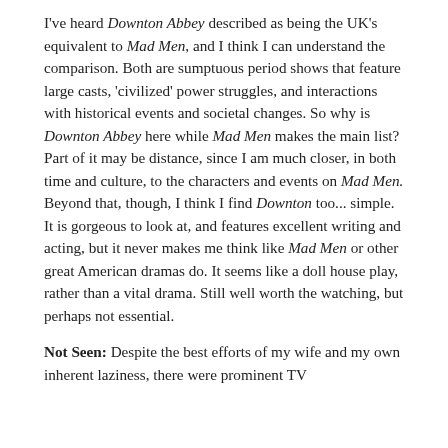I've heard Downton Abbey described as being the UK's equivalent to Mad Men, and I think I can understand the comparison. Both are sumptuous period shows that feature large casts, 'civilized' power struggles, and interactions with historical events and societal changes. So why is Downton Abbey here while Mad Men makes the main list? Part of it may be distance, since I am much closer, in both time and culture, to the characters and events on Mad Men. Beyond that, though, I think I find Downton too... simple. It is gorgeous to look at, and features excellent writing and acting, but it never makes me think like Mad Men or other great American dramas do. It seems like a doll house play, rather than a vital drama. Still well worth the watching, but perhaps not essential.
Not Seen: Despite the best efforts of my wife and my own inherent laziness, there were prominent TV